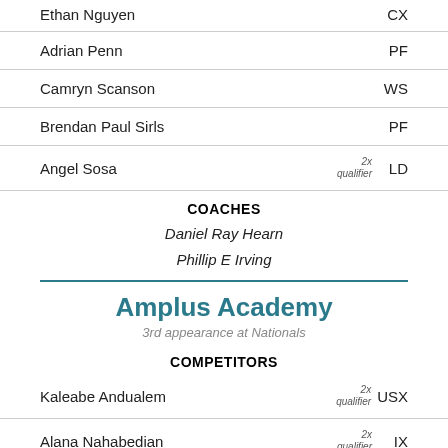Ethan Nguyen — CX
Adrian Penn — PF
Camryn Scanson — WS
Brendan Paul Sirls — PF
Angel Sosa — 2x qualifier — LD
COACHES
Daniel Ray Hearn
Phillip E Irving
Amplus Academy
3rd appearance at Nationals
COMPETITORS
Kaleabe Andualem — 2x qualifier — USX
Alana Nahabedian — 2x qualifier — IX